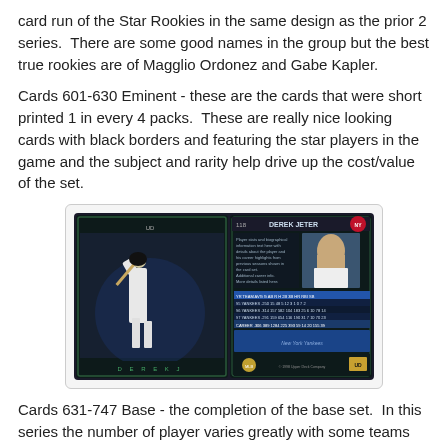card run of the Star Rookies in the same design as the prior 2 series. There are some good names in the group but the best true rookies are of Magglio Ordonez and Gabe Kapler.
Cards 601-630 Eminent - these are the cards that were short printed 1 in every 4 packs. These are really nice looking cards with black borders and featuring the star players in the game and the subject and rarity help drive up the cost/value of the set.
[Figure (photo): A baseball card showing front and back. Front side features a player batting with a dark/black border design. Back side shows Derek Jeter with New York Yankees logo, player photo, stats table, and biographical text.]
Cards 631-747 Base - the completion of the base set. In this series the number of player varies greatly with some teams